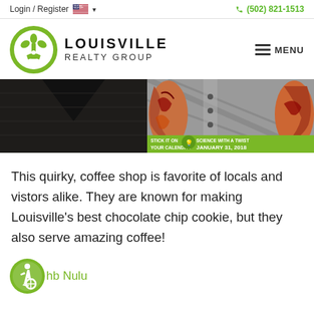Login / Register   (502) 821-1513
[Figure (logo): Louisville Realty Group logo — green circle with fleur-de-lis scout emblem, bold text LOUISVILLE REALTY GROUP, hamburger menu icon with text MENU]
[Figure (photo): Two-panel photo strip: left panel shows a dark wooden surface with a V-shaped notch; right panel shows a person with tattoo sleeves wearing a flannel shirt, with a green banner overlay reading STICK IT ON YOUR CALENDAR / SCIENCE WITH A TWIST / JANUARY 31, 2018]
This quirky, coffee shop is favorite of locals and vistors alike. They are known for making Louisville's best chocolate chip cookie, but they also serve amazing coffee!
[Figure (logo): Green circle with wheelchair accessibility icon]
hb Nulu